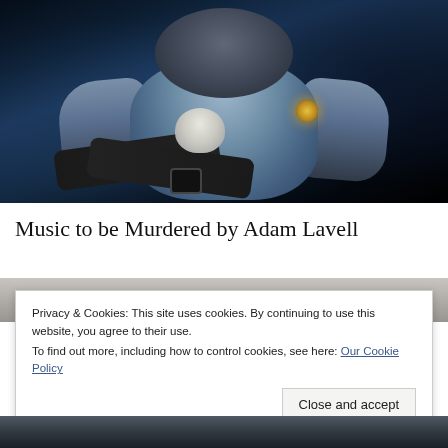[Figure (photo): A muscular shirtless figure with arms crossed, wearing a gas mask and holding a white cat, dark dramatic lighting with blue tones]
Music to be Murdered by Adam Lavell
[Figure (photo): Partially visible image below title, obscured by cookie banner]
Privacy & Cookies: This site uses cookies. By continuing to use this website, you agree to their use.
To find out more, including how to control cookies, see here: Our Cookie Policy
Close and accept
[Figure (photo): Bottom portion of another image, dark tones]